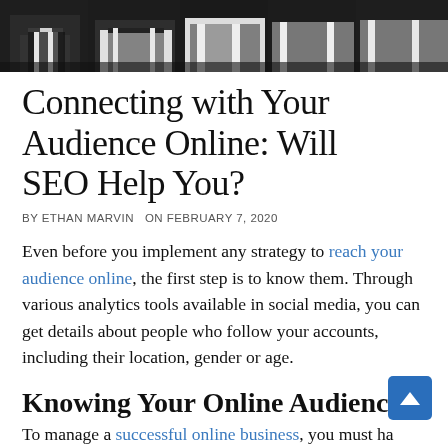[Figure (photo): Black and white photo banner showing people in business attire from waist down, cropped]
Connecting with Your Audience Online: Will SEO Help You?
BY ETHAN MARVIN  ON FEBRUARY 7, 2020
Even before you implement any strategy to reach your audience online, the first step is to know them. Through various analytics tools available in social media, you can get details about people who follow your accounts, including their location, gender or age.
Knowing Your Online Audience
To manage a successful online business, you must have an established online audience to serve, which is why the